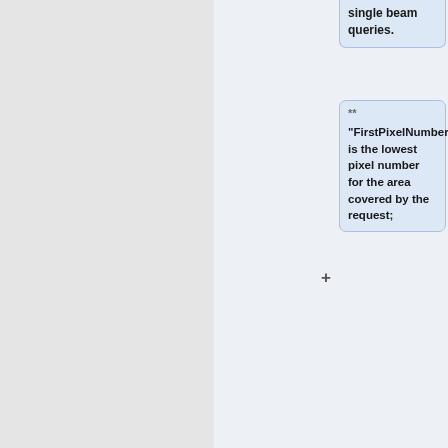single beam queries.
** "FirstPixelNumber" is the lowest pixel number for the area covered by the request;
** "LastPixelNumber" is the highest pixel number for the area covered by the request;
The effective beams are stored as
==File format==